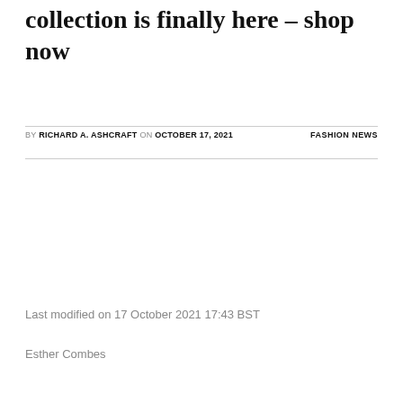collection is finally here – shop now
BY RICHARD A. ASHCRAFT ON OCTOBER 17, 2021    FASHION NEWS
Last modified on 17 October 2021 17:43 BST
Esther Combes